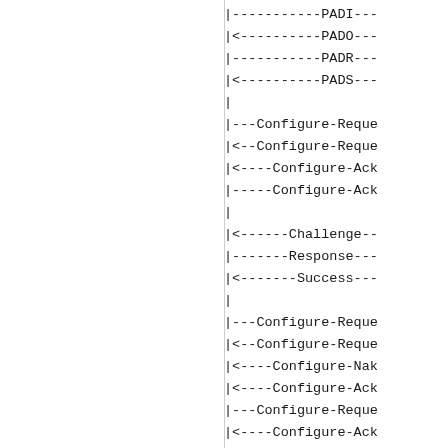|-----------PADI---
|<----------PADO---
|-----------PADR---
|<----------PADS---
|
|---Configure-Reque
|<--Configure-Reque
|<----Configure-Ack
|-----Configure-Ack
|
|<------Challenge--
|-------Response---
|<-------Success---
|
|---Configure-Reque
|<--Configure-Reque
|<----Configure-Nak
|<----Configure-Ack
|---Configure-Reque
|<----Configure-Ack
|